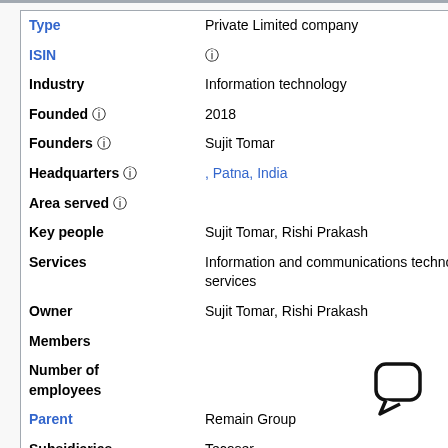| Field | Value |
| --- | --- |
| Type | Private Limited company |
| ISIN | 🛈 |
| Industry | Information technology |
| Founded 🛈 | 2018 |
| Founders 🛈 | Sujit Tomar |
| Headquarters 🛈 | , Patna, India |
| Area served 🛈 |  |
| Key people | Sujit Tomar, Rishi Prakash |
| Services | Information and communications technology, Outsourcing, Consulting, Managed services |
| Owner | Sujit Tomar, Rishi Prakash |
| Members |  |
| Number of employees |  |
| Parent | Remain Group |
| Subsidiaries | Tecoser |
| 🛈 Website | Official Website |